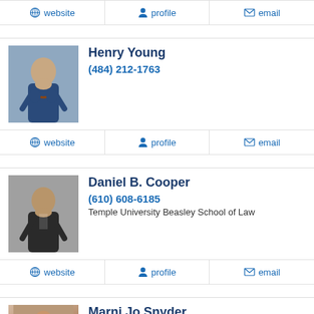website | profile | email (action bar for previous entry)
[Figure (photo): Headshot of Henry Young, man in suit with arms crossed]
Henry Young
(484) 212-1763
website | profile | email
[Figure (photo): Headshot of Daniel B. Cooper, man in dark suit]
Daniel B. Cooper
(610) 608-6185
Temple University Beasley School of Law
website | profile | email
[Figure (photo): Headshot of Marni Jo Snyder, woman]
Marni Jo Snyder